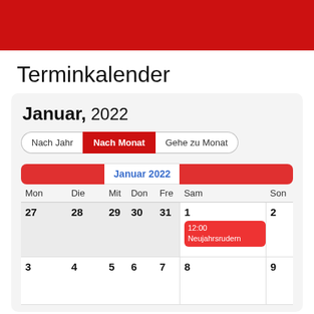Terminkalender
Januar, 2022
Nach Jahr | Nach Monat | Gehe zu Monat
| Mon | Die | Mit | Don | Fre | Sam | Son |
| --- | --- | --- | --- | --- | --- | --- |
| 27 | 28 | 29 | 30 | 31 | 1 / 12:00 Neujahrsrudern | 2 |
| 3 | 4 | 5 | 6 | 7 | 8 | 9 |